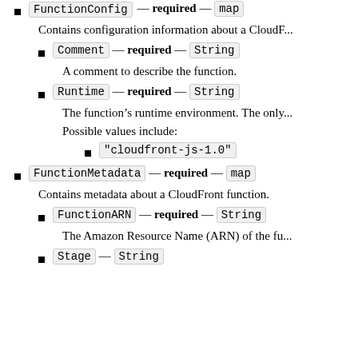FunctionConfig — required — (map)
Contains configuration information about a CloudF...
Comment — required — (String)
A comment to describe the function.
Runtime — required — (String)
The function's runtime environment. The only...
Possible values include:
"cloudfront-js-1.0"
FunctionMetadata — required — (map)
Contains metadata about a CloudFront function.
FunctionARN — required — (String)
The Amazon Resource Name (ARN) of the fu...
Stage — (String)